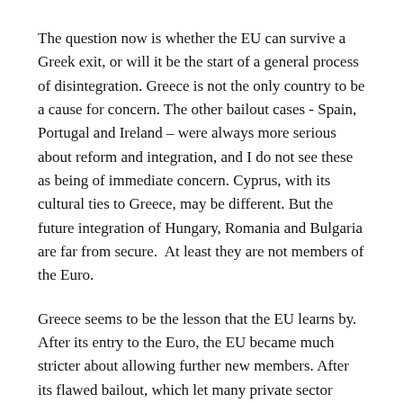The question now is whether the EU can survive a Greek exit, or will it be the start of a general process of disintegration. Greece is not the only country to be a cause for concern. The other bailout cases - Spain, Portugal and Ireland – were always more serious about reform and integration, and I do not see these as being of immediate concern. Cyprus, with its cultural ties to Greece, may be different. But the future integration of Hungary, Romania and Bulgaria are far from secure.  At least they are not members of the Euro.
Greece seems to be the lesson that the EU learns by. After its entry to the Euro, the EU became much stricter about allowing further new members. After its flawed bailout, which let many private sector investors off the hook, it was much stricter with Cyprus.